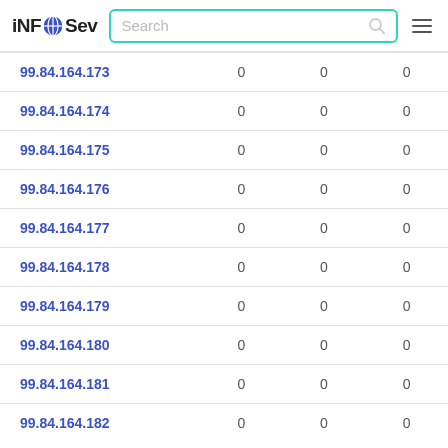iNFOSev [search bar] [hamburger menu]
| IP | col1 | col2 | col3 |
| --- | --- | --- | --- |
| 99.84.164.173 | 0 | 0 | 0 |
| 99.84.164.174 | 0 | 0 | 0 |
| 99.84.164.175 | 0 | 0 | 0 |
| 99.84.164.176 | 0 | 0 | 0 |
| 99.84.164.177 | 0 | 0 | 0 |
| 99.84.164.178 | 0 | 0 | 0 |
| 99.84.164.179 | 0 | 0 | 0 |
| 99.84.164.180 | 0 | 0 | 0 |
| 99.84.164.181 | 0 | 0 | 0 |
| 99.84.164.182 | 0 | 0 | 0 |